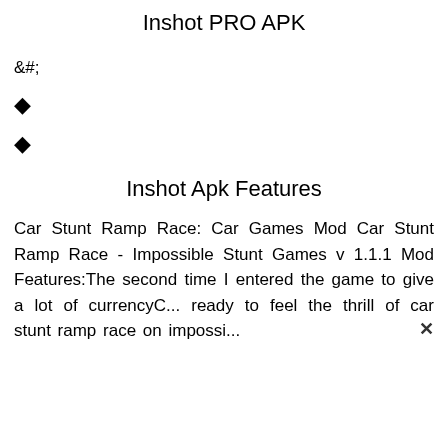Inshot PRO APK
&#;
◆
◆
Inshot Apk Features
Car Stunt Ramp Race: Car Games Mod Car Stunt Ramp Race - Impossible Stunt Games v 1.1.1 Mod Features:The second time I entered the game to give a lot of currencyC... ready to feel the thrill of car stunt ramp race on impossi...